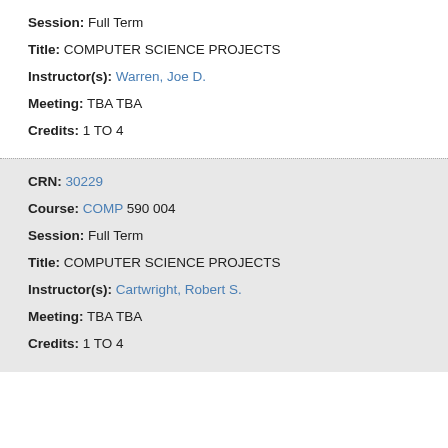Session: Full Term
Title: COMPUTER SCIENCE PROJECTS
Instructor(s): Warren, Joe D.
Meeting: TBA TBA
Credits: 1 TO 4
CRN: 30229
Course: COMP 590 004
Session: Full Term
Title: COMPUTER SCIENCE PROJECTS
Instructor(s): Cartwright, Robert S.
Meeting: TBA TBA
Credits: 1 TO 4